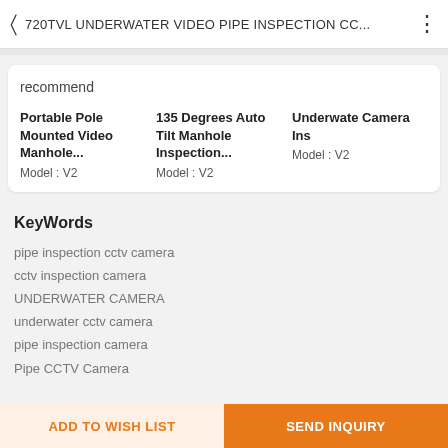720TVL UNDERWATER VIDEO PIPE INSPECTION CC...
recommend
Portable Pole Mounted Video Manhole...
Model : V2
135 Degrees Auto Tilt Manhole Inspection...
Model : V2
Underwate Camera Ins
Model : V2
KeyWords
pipe inspection cctv camera
cctv inspection camera
UNDERWATER CAMERA
underwater cctv camera
pipe inspection camera
Pipe CCTV Camera